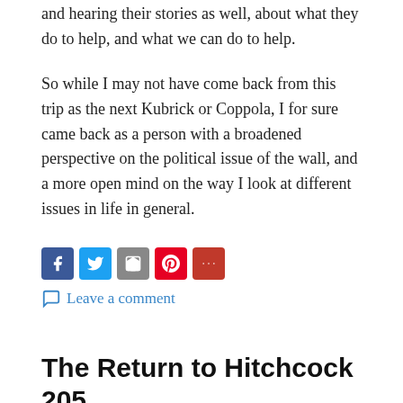and hearing their stories as well, about what they do to help, and what we can do to help.
So while I may not have come back from this trip as the next Kubrick or Coppola, I for sure came back as a person with a broadened perspective on the political issue of the wall, and a more open mind on the way I look at different issues in life in general.
[Figure (infographic): Social sharing icons: Facebook (blue), Twitter (light blue), RSS/share (gray), Pinterest (red), More (dark red)]
Leave a comment
The Return to Hitchcock 205
June 19, 2016    2016 Arizona and Mexico    Ryan Lloyd
After making it back home, we all had the weekend to recover from the three weeks of nonstop working, from